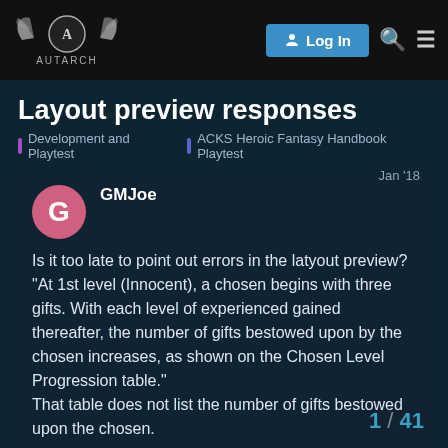AUTARCH — Log In
Layout preview responses
Development and Playtest | ACKS Heroic Fantasy Handbook Playtest
GMJoe  Jan '18
Is it too late to point out errors in the latyout preview?
"At 1st level (Innocent), a chosen begins with three gifts. With each level of experienced gained thereafter, the number of gifts bestowed upon by the chosen increases, as shown on the Chosen Level Progression table."
That table does not list the number of gifts bestowed upon the chosen.
1 / 41